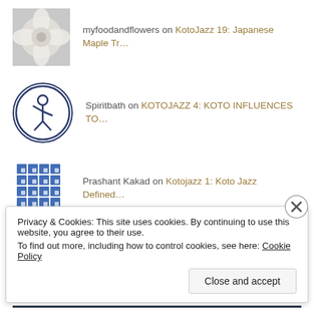myfoodandflowers on KotoJazz 19: Japanese Maple Tr...
Spiritbath on KOTOJAZZ 4: KOTO INFLUENCES TO...
Prashant Kakad on Kotojazz 1: Koto Jazz Defined...
Gary Derry on Kotojazz 1: Koto Jazz Defined...
PAGES
Privacy & Cookies: This site uses cookies. By continuing to use this website, you agree to their use. To find out more, including how to control cookies, see here: Cookie Policy
Close and accept